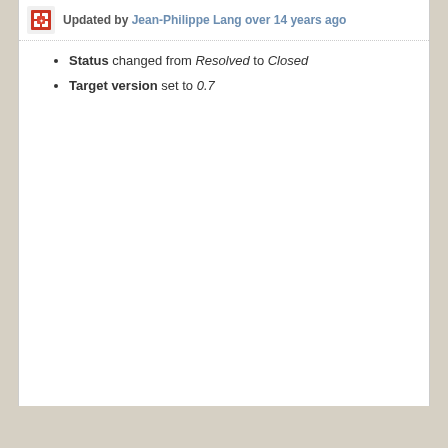Updated by Jean-Philippe Lang over 14 years ago
Status changed from Resolved to Closed
Target version set to 0.7